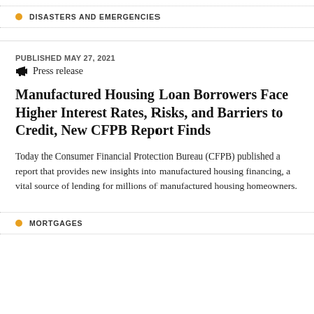DISASTERS AND EMERGENCIES
PUBLISHED MAY 27, 2021
Press release
Manufactured Housing Loan Borrowers Face Higher Interest Rates, Risks, and Barriers to Credit, New CFPB Report Finds
Today the Consumer Financial Protection Bureau (CFPB) published a report that provides new insights into manufactured housing financing, a vital source of lending for millions of manufactured housing homeowners.
MORTGAGES